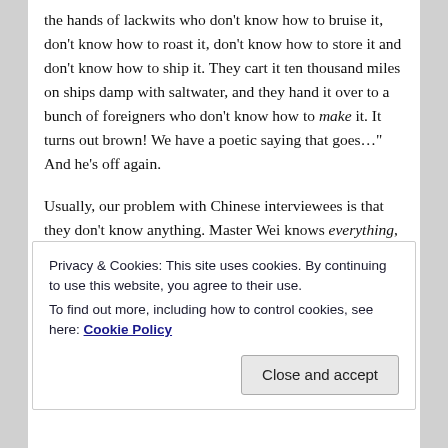the hands of lackwits who don't know how to bruise it, don't know how to roast it, don't know how to store it and don't know how to ship it. They cart it ten thousand miles on ships damp with saltwater, and they hand it over to a bunch of foreigners who don't know how to make it. It turns out brown! We have a poetic saying that goes…" And he's off again.
Usually, our problem with Chinese interviewees is that they don't know anything. Master Wei knows everything, and is determined to preface any statement with a nine-point rebuttal, in blank verse, of any likely dissent. I just wind him up and watch him go. When he finishes, with an appeal to the peanut gallery about the future of tea, there
Privacy & Cookies: This site uses cookies. By continuing to use this website, you agree to their use.
To find out more, including how to control cookies, see here: Cookie Policy